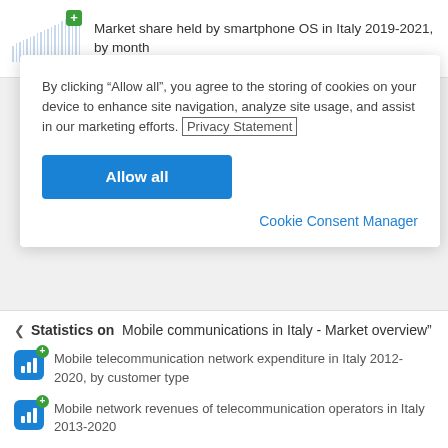[Figure (screenshot): Thumbnail of a bar chart for market share by smartphone OS in Italy 2019-2021 with a green plus badge]
Market share held by smartphone OS in Italy 2019-2021, by month
By clicking “Allow all”, you agree to the storing of cookies on your device to enhance site navigation, analyze site usage, and assist in our marketing efforts. Privacy Statement
Allow all
Cookie Consent Manager
Statistics on Mobile communications in Italy - Market overview"
Mobile telecommunication network expenditure in Italy 2012-2020, by customer type
Mobile network revenues of telecommunication operators in Italy 2013-2020